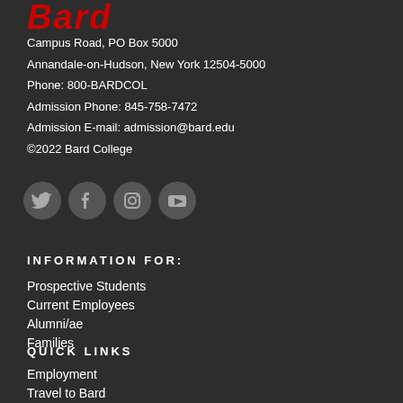Bard
Campus Road, PO Box 5000
Annandale-on-Hudson, New York 12504-5000
Phone: 800-BARDCOL
Admission Phone: 845-758-7472
Admission E-mail: admission@bard.edu
©2022 Bard College
[Figure (illustration): Social media icons: Twitter, Facebook, Instagram, YouTube]
INFORMATION FOR:
Prospective Students
Current Employees
Alumni/ae
Families
QUICK LINKS
Employment
Travel to Bard